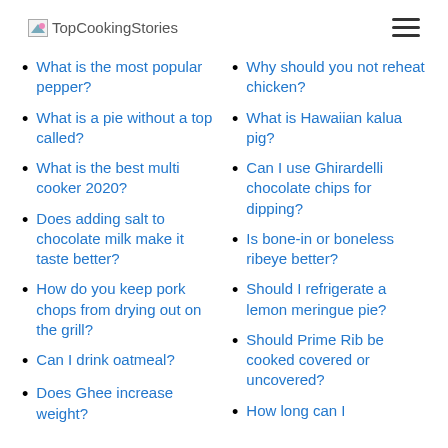TopCookingStories
What is the most popular pepper?
What is a pie without a top called?
What is the best multi cooker 2020?
Does adding salt to chocolate milk make it taste better?
How do you keep pork chops from drying out on the grill?
Can I drink oatmeal?
Does Ghee increase weight?
Why should you not reheat chicken?
What is Hawaiian kalua pig?
Can I use Ghirardelli chocolate chips for dipping?
Is bone-in or boneless ribeye better?
Should I refrigerate a lemon meringue pie?
Should Prime Rib be cooked covered or uncovered?
How long can I